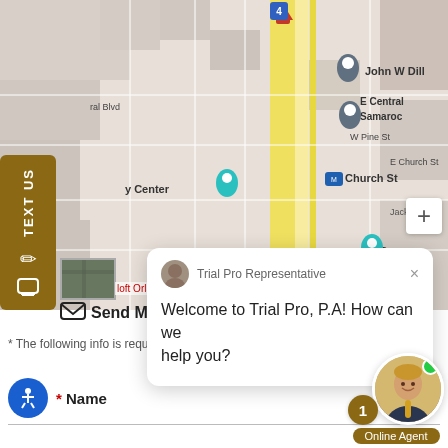[Figure (map): Google Maps screenshot showing Orlando downtown area with street labels including John W Dill, E Central Samaroc, ral Blvd, W Pine St, E Church St, Church St (with bus icon), Jackson St, and map pins. A red location pin appears at top, grey pins at John W Dill and E Central Samaroc locations, teal pin near Dr the, and a teal/turquoise pin at y Center. A zoom plus button appears at right.]
TEXT US
Send M
* The following info is required
[Figure (screenshot): Chat popup overlay from Trial Pro Representative saying: Welcome to Trial Pro, P.A! How can we help you?]
Trial Pro Representative
Welcome to Trial Pro, P.A! How can we help you?
[Figure (photo): Online Agent avatar showing a man in a suit with a gold/yellow tie, smiling. A green online dot appears at top right. A gold badge with number 1 appears to the left. 'Online Agent' label below.]
* Name
Online Agent